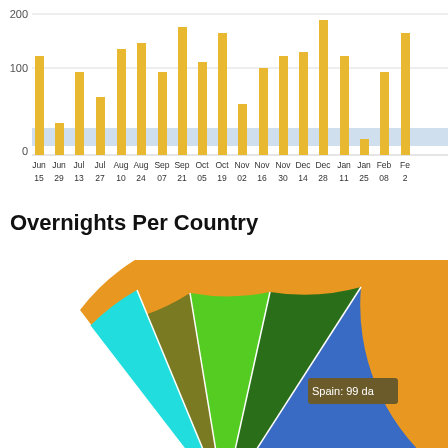[Figure (bar-chart): Overnights (bar chart with weekly dates)]
Overnights Per Country
[Figure (pie-chart): Overnights Per Country]